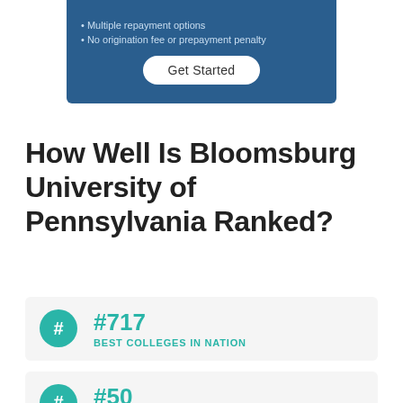[Figure (screenshot): Blue advertisement banner with bullet points 'Multiple repayment options' and 'No origination fee or prepayment penalty', and a 'Get Started' button]
How Well Is Bloomsburg University of Pennsylvania Ranked?
#717 BEST COLLEGES IN NATION
#50 BEST COLLEGES IN PA